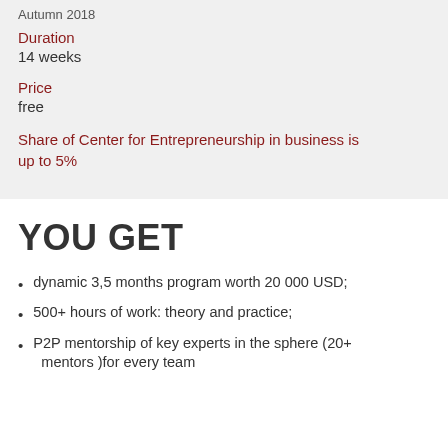Autumn 2018
Duration
14 weeks
Price
free
Share of Center for Entrepreneurship in business is up to 5%
YOU GET
dynamic 3,5 months program worth 20 000 USD;
500+ hours of work: theory and practice;
P2P mentorship of key experts in the sphere (20+ mentors )for every team